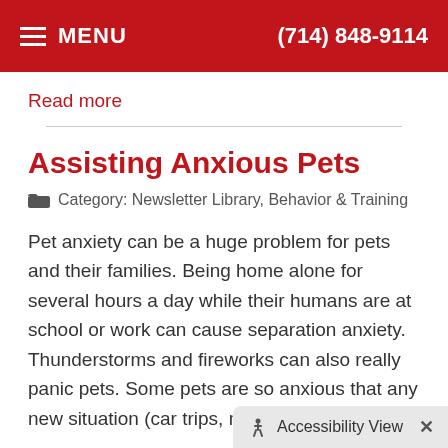MENU  (714) 848-9114
Read more
Assisting Anxious Pets
Category: Newsletter Library, Behavior & Training
Pet anxiety can be a huge problem for pets and their families. Being home alone for several hours a day while their humans are at school or work can cause separation anxiety. Thunderstorms and fireworks can also really panic pets. Some pets are so anxious that any new situation (car trips, moving, unexpected
Read more